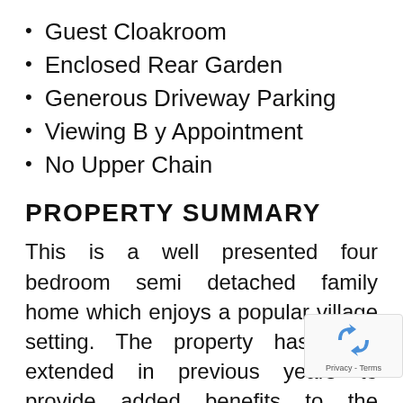Guest Cloakroom
Enclosed Rear Garden
Generous Driveway Parking
Viewing B y Appointment
No Upper Chain
PROPERTY SUMMARY
This is a well presented four bedroom semi detached family home which enjoys a popular village setting. The property has been extended in previous years to provide added benefits to the accommodation. The property also benefits from double glazed windows and gas to radiator heating. The property comes with no onward chain.